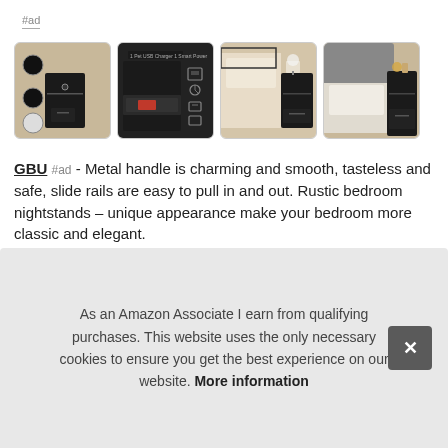#ad
[Figure (photo): Four product photos of a black bedroom nightstand/cabinet with drawers shown from different angles and in bedroom settings.]
GBU #ad - Metal handle is charming and smooth, tasteless and safe, slide rails are easy to pull in and out. Rustic bedroom nightstands – unique appearance make your bedroom more classic and elegant.
It w... 20-4... inst... wate...
As an Amazon Associate I earn from qualifying purchases. This website uses the only necessary cookies to ensure you get the best experience on our website. More information